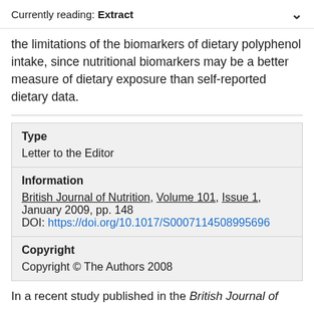Currently reading: Extract
the limitations of the biomarkers of dietary polyphenol intake, since nutritional biomarkers may be a better measure of dietary exposure than self-reported dietary data.
| Field | Value |
| --- | --- |
| Type | Letter to the Editor |
| Information | British Journal of Nutrition, Volume 101, Issue 1, January 2009, pp. 148
DOI: https://doi.org/10.1017/S0007114508995696 |
| Copyright | Copyright © The Authors 2008 |
In a recent study published in the British Journal of